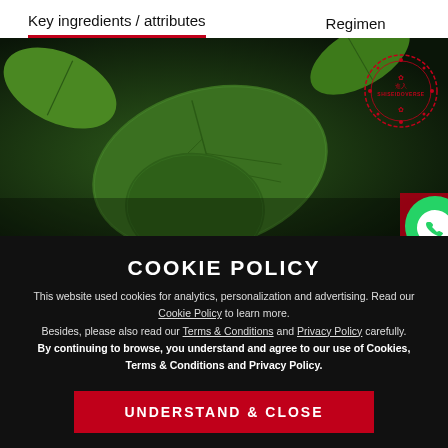Key ingredients / attributes	Regimen
[Figure (photo): Close-up photo of green leaves/plants with dark background. Shiseido stamp logo in top-right corner. WhatsApp button in bottom-right corner.]
COOKIE POLICY
This website used cookies for analytics, personalization and advertising. Read our Cookie Policy to learn more.
Besides, please also read our Terms & Conditions and Privacy Policy carefully.
By continuing to browse, you understand and agree to our use of Cookies, Terms & Conditions and Privacy Policy.
UNDERSTAND & CLOSE